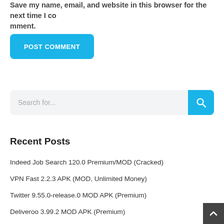Save my name, email, and website in this browser for the next time I comment.
[Figure (screenshot): Blue 'POST COMMENT' button with rounded corners]
[Figure (screenshot): Search bar with placeholder text 'Search for...' and a blue search button with magnifying glass icon]
Recent Posts
Indeed Job Search 120.0 Premium/MOD (Cracked)
VPN Fast 2.2.3 APK (MOD, Unlimited Money)
Twitter 9.55.0-release.0 MOD APK (Premium)
Deliveroo 3.99.2 MOD APK (Premium)